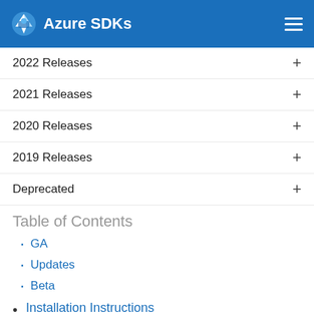Azure SDKs
2022 Releases +
2021 Releases +
2020 Releases +
2019 Releases +
Deprecated +
Table of Contents
GA
Updates
Beta
Installation Instructions
Feedback
Release highlights
App Configuration 1.2.0 Changelog
– Features Added
Attestation 1.0.0 Changelog